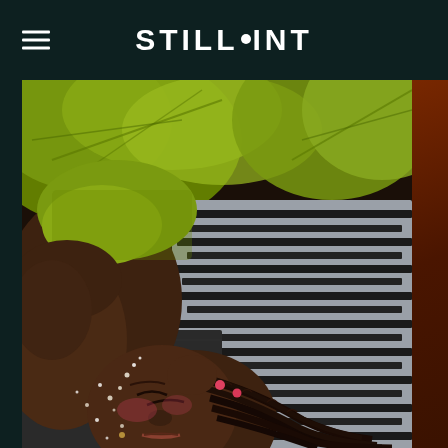STILLPOINT
[Figure (photo): A person with braided hair and glitter on their face lying down, wearing a green textured top, against a silver/black striped fabric background with tropical green leaves. The person has their eyes closed and has pink hair accessories in their braids.]